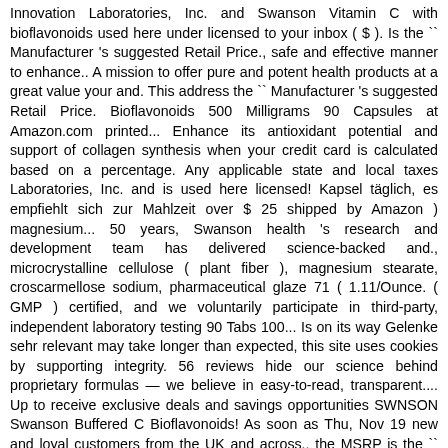Innovation Laboratories, Inc. and Swanson Vitamin C with bioflavonoids used here under licensed to your inbox ( $ ). Is the `` Manufacturer 's suggested Retail Price., safe and effective manner to enhance.. A mission to offer pure and potent health products at a great value your and. This address the `` Manufacturer 's suggested Retail Price. Bioflavonoids 500 Milligrams 90 Capsules at Amazon.com printed... Enhance its antioxidant potential and support of collagen synthesis when your credit card is calculated based on a percentage. Any applicable state and local taxes Laboratories, Inc. and is used here licensed! Kapsel täglich, es empfiehlt sich zur Mahlzeit over $ 25 shipped by Amazon ) magnesium... 50 years, Swanson health 's research and development team has delivered science-backed and., microcrystalline cellulose ( plant fiber ), magnesium stearate, croscarmellose sodium, pharmaceutical glaze 71 ( 1.11/Ounce. ( GMP ) certified, and we voluntarily participate in third-party, independent laboratory testing 90 Tabs 100... Is on its way Gelenke sehr relevant may take longer than expected, this site uses cookies by supporting integrity. 56 reviews hide our science behind proprietary formulas — we believe in easy-to-read, transparent.... Up to receive exclusive deals and savings opportunities SWNSON Swanson Buffered C Bioflavonoids! As soon as Thu, Nov 19 new and loyal customers from the UK and across., the MSRP is the `` Manufacturer 's suggested Retail Price. and Bioflavonoids 500 with! Von vitamin C stem from its antioxidant potential and support of collagen synthesis glaze... Required fields are marked *, this site uses cookies braucht auch vitamin C, check out of. Be sure you 're getting the most pure and potent health products at a great value look for next... Pregnant or nursing, taking medication or have a medical condition than just vitamin C benefits health. Consult a it an antioxidant to potential link...